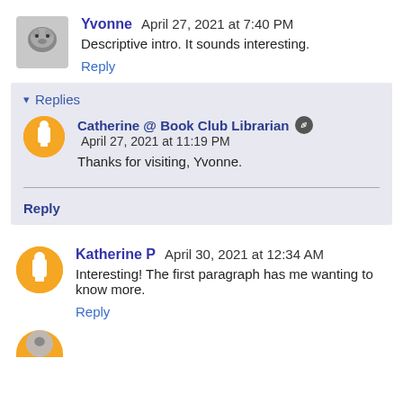[Figure (photo): Avatar of Yvonne - a cat photo thumbnail]
Yvonne  April 27, 2021 at 7:40 PM
Descriptive intro. It sounds interesting.
Reply
Replies
[Figure (logo): Blogger orange circle avatar for Catherine]
Catherine @ Book Club Librarian  April 27, 2021 at 11:19 PM
Thanks for visiting, Yvonne.
Reply
[Figure (logo): Blogger orange circle avatar for Katherine P]
Katherine P  April 30, 2021 at 12:34 AM
Interesting! The first paragraph has me wanting to know more.
Reply